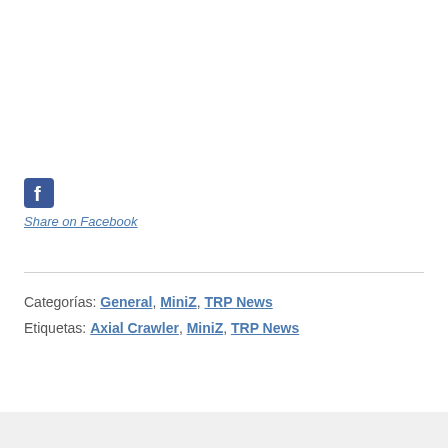[Figure (logo): Facebook share icon button (blue square with white 'f' logo)]
Share on Facebook
Categorías: General, MiniZ, TRP News
Etiquetas: Axial Crawler, MiniZ, TRP News